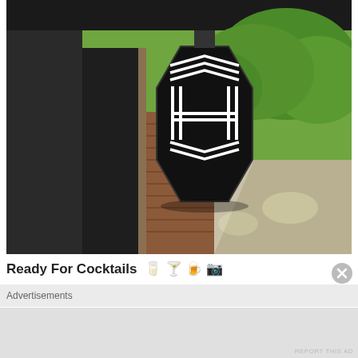[Figure (photo): Outdoor photo of a bar/restaurant entrance with a black hexagonal sign featuring a geometric 'H' logo made of white lines. The background shows green trees, sunlight, and a brick column. The ceiling/overhang is visible at the top.]
Ready For Cocktails 🥛🍸🍺📷
Advertisements